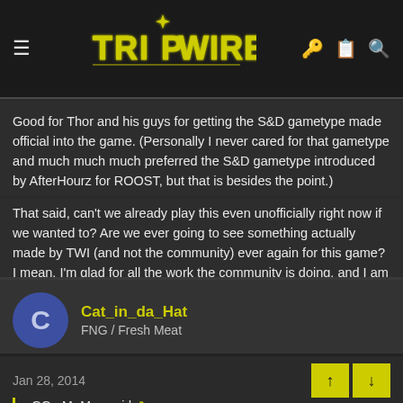Tripwire Interactive - Logo header with hamburger menu and icons
Good for Thor and his guys for getting the S&D gametype made official into the game. (Personally I never cared for that gametype and much much much preferred the S&D gametype introduced by AfterHourz for ROOST, but that is besides the point.)
That said, can't we already play this even unofficially right now if we wanted to? Are we ever going to see something actually made by TWI (and not the community) ever again for this game? I mean, I'm glad for all the work the community is doing, and I am glad that TWI is adding it to the game officially (I really am), but come on...
Cat_in_da_Hat
FNG / Fresh Meat
Jan 28, 2014
=GG= Mr Moe said: